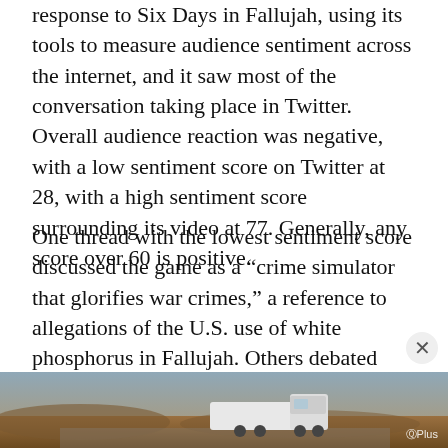response to Six Days in Fallujah, using its tools to measure audience sentiment across the internet, and it saw most of the conversation taking place in Twitter. Overall audience reaction was negative, with a low sentiment score on Twitter at 28, with a high sentiment score surrounding its video at 77. Generally, any score over 60 is positive.
One thread with the lowest sentiment score discussed the game as a “crime simulator that glorifies war crimes,” a reference to allegations of the U.S. use of white phosphorus in Fallujah. Others debated whether it was possible for a game with politics and history involved to not make a political statement. And some positive conversations
[Figure (other): Advertisement banner for 'Future of Trucking Powered by AI' (GPlus) with a desert trucking scene and white truck in background. Includes close (X) button overlay.]